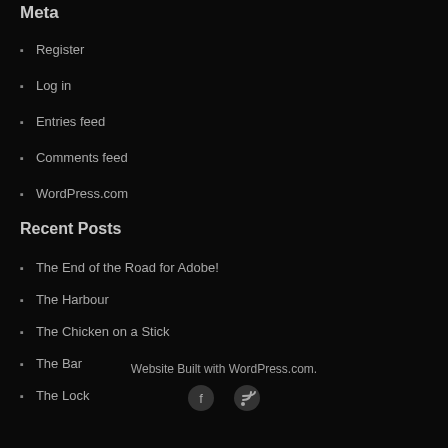Meta
Register
Log in
Entries feed
Comments feed
WordPress.com
Recent Posts
The End of the Road for Adobe!
The Harbour
The Chicken on a Stick
The Bar
The Lock
Website Built with WordPress.com.